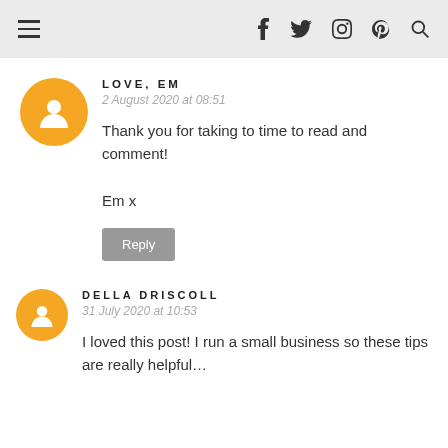≡  f  twitter  instagram  pinterest  search
LOVE, EM
2 August 2020 at 08:51
Thank you for taking to time to read and comment!

Em x
Reply
DELLA DRISCOLL
31 July 2020 at 10:53
I loved this post! I run a small business so these tips are really helpful…